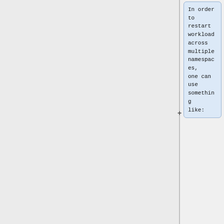In order to restart workload across multiple namespaces, one can use something like:
<syntaxhighlight lang="bash">
kubectl get ns -l app.kubernetes.io/managed-by=Helm -o jsonpath='{.items[*].met